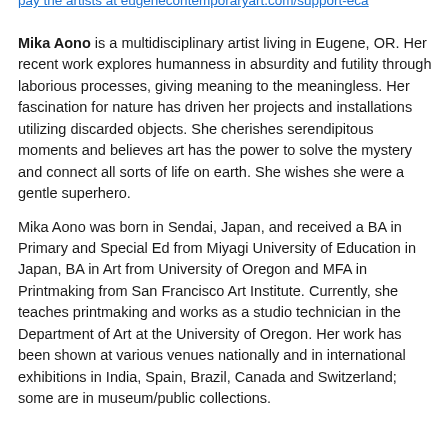pay the artists at eugenecontemporaryart.com/support-eca
Mika Aono is a multidisciplinary artist living in Eugene, OR. Her recent work explores humanness in absurdity and futility through laborious processes, giving meaning to the meaningless. Her fascination for nature has driven her projects and installations utilizing discarded objects. She cherishes serendipitous moments and believes art has the power to solve the mystery and connect all sorts of life on earth. She wishes she were a gentle superhero.
Mika Aono was born in Sendai, Japan, and received a BA in Primary and Special Ed from Miyagi University of Education in Japan, BA in Art from University of Oregon and MFA in Printmaking from San Francisco Art Institute. Currently, she teaches printmaking and works as a studio technician in the Department of Art at the University of Oregon. Her work has been shown at various venues nationally and in international exhibitions in India, Spain, Brazil, Canada and Switzerland; some are in museum/public collections.
Jill R Baker is a visual artist whose work employs drawing, performance, and video to document improvised interactions with